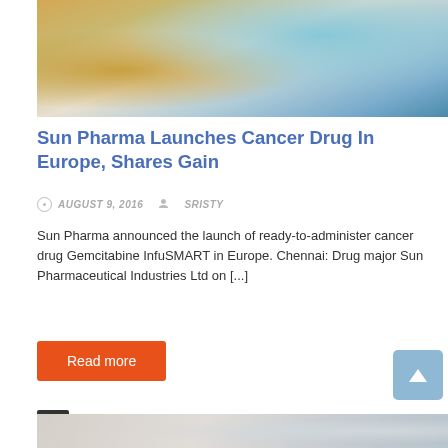[Figure (photo): Close-up photo of a gloved hand holding a medical syringe or vial, blurred background with blue and yellow tones]
Sun Pharma Launches Cancer Drug In Europe, Shares Gain
AUGUST 9, 2016   SRISTY
Sun Pharma announced the launch of ready-to-administer cancer drug Gemcitabine InfuSMART in Europe. Chennai: Drug major Sun Pharmaceutical Industries Ltd on [...]
Read more
[Figure (photo): Partial view of another article's hero image, close-up medical/pharmaceutical image]